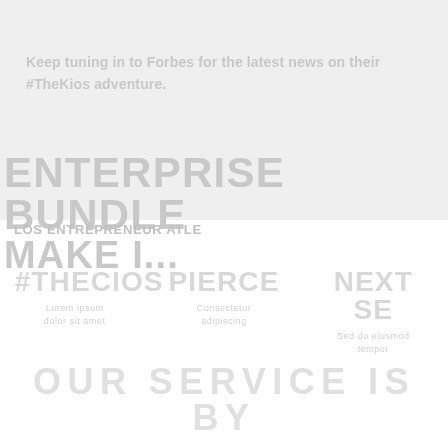Keep tuning in to Forbes for the latest news on their #TheKios adventure.
ENTERPRISE BUNDLE
MAKE I...
LOS ENTREPRENEUR ATLE
#THECIOS   PIERCE   NEXT SE
OUR SERVICE IS BY